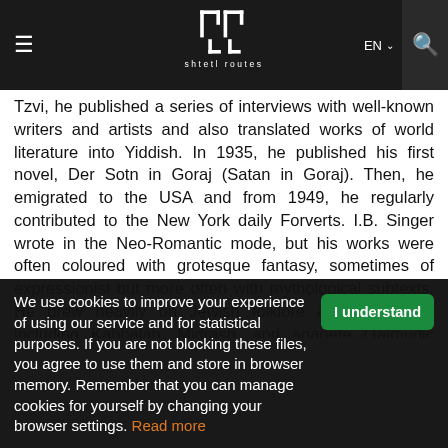shtetl routes — EN
Tzvi, he published a series of interviews with well-known writers and artists and also translated works of world literature into Yiddish. In 1935, he published his first novel, Der Sotn in Goraj (Satan in Goraj). Then, he emigrated to the USA and from 1949, he regularly contributed to the New York daily Forverts. I.B. Singer wrote in the Neo-Romantic mode, but his works were often coloured with grotesque fantasy, sometimes of expressionist but more often with mythological subtexts. He drew heavily on Jewish folklore and mysticism, including Kabbalah, Midrash, and agadete (Talmudic narratives and parables). His works, set in Poland and in America, included novels such as Familie Muscat (The Family Moskat, 1950) and Der kuntsnmakher fun Lublin (The Magician of Lublin...
We use cookies to improve your experience of using our service and for statistical purposes. If you are not blocking these files, you agree to use them and store in browser memory. Remember that you can manage cookies for yourself by changing your browser settings. Read more